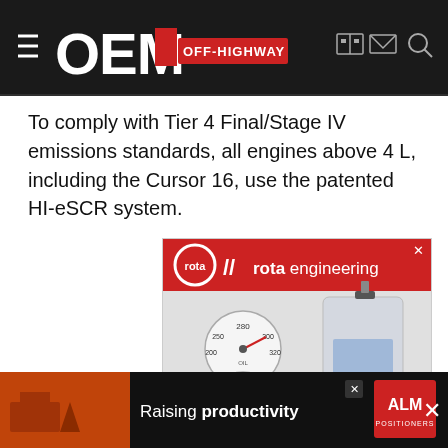OEM OFF-HIGHWAY
To comply with Tier 4 Final/Stage IV emissions standards, all engines above 4 L, including the Cursor 16, use the patented HI-eSCR system.
[Figure (illustration): rota engineering advertisement banner showing gauges and measurement equipment with text 'rota engineering' and 'rota-eng.com']
[Figure (illustration): ALM Positioners advertisement banner with text 'Raising productivity']